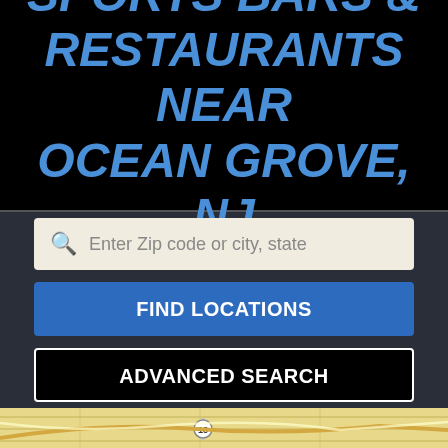SPORTS BARS & RESTAURANTS NEAR OCEAN GROVE, NJ
Enter Zip code or city, state
FIND LOCATIONS
ADVANCED SEARCH
[Figure (map): Partial map view showing Ocean Grove, NJ area with road markings and route 18 visible]